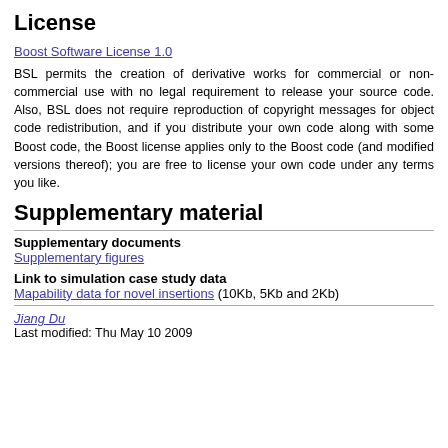License
Boost Software License 1.0
BSL permits the creation of derivative works for commercial or non-commercial use with no legal requirement to release your source code. Also, BSL does not require reproduction of copyright messages for object code redistribution, and if you distribute your own code along with some Boost code, the Boost license applies only to the Boost code (and modified versions thereof); you are free to license your own code under any terms you like.
Supplementary material
Supplementary documents
Supplementary figures
Link to simulation case study data
Mapability data for novel insertions (10Kb, 5Kb and 2Kb)
Jiang Du
Last modified: Thu May 10 2009